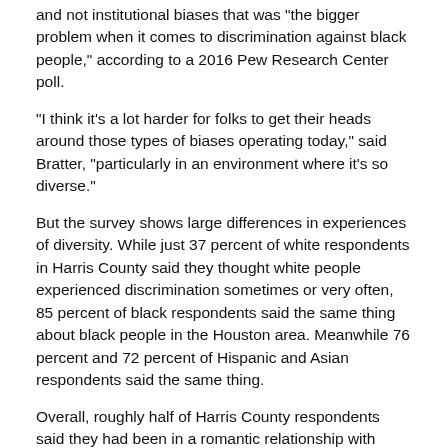and not institutional biases that was "the bigger problem when it comes to discrimination against black people," according to a 2016 Pew Research Center poll.
"I think it's a lot harder for folks to get their heads around those types of biases operating today," said Bratter, "particularly in an environment where it's so diverse."
But the survey shows large differences in experiences of diversity. While just 37 percent of white respondents in Harris County said they thought white people experienced discrimination sometimes or very often, 85 percent of black respondents said the same thing about black people in the Houston area. Meanwhile 76 percent and 72 percent of Hispanic and Asian respondents said the same thing.
Overall, roughly half of Harris County respondents said they had been in a romantic relationship with someone of a different background, according to the latest survey and that number tends to increase as respondents get younger.
But Bratter cautions interpreting relationships as signs of inherent progress. Intermarriage, for example, is sometimes